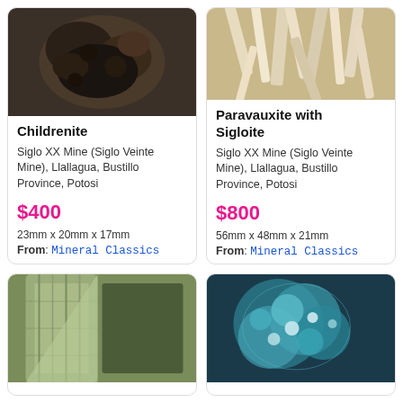[Figure (photo): Photo of Childrenite mineral specimen, dark brownish-black cluster]
Childrenite
Siglo XX Mine (Siglo Veinte Mine), Llallagua, Bustillo Province, Potosi
$400
23mm x 20mm x 17mm
From: Mineral Classics
[Figure (photo): Photo of Paravauxite with Sigloite mineral specimen, white/cream fibrous crystals]
Paravauxite with Sigloite
Siglo XX Mine (Siglo Veinte Mine), Llallagua, Bustillo Province, Potosi
$800
56mm x 48mm x 21mm
From: Mineral Classics
[Figure (photo): Photo of a pale green/yellow mineral specimen with layered crystalline structure]
[Figure (photo): Photo of a blue-green botryoidal mineral specimen]